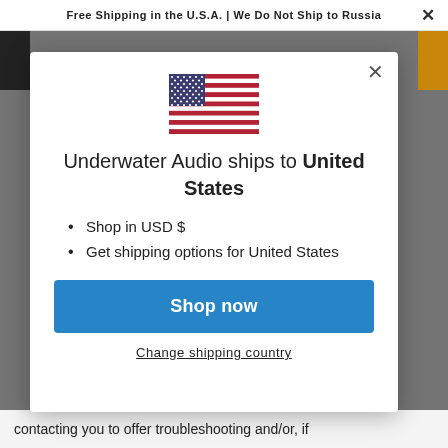Free Shipping in the U.S.A. | We Do Not Ship to Russia
[Figure (illustration): US flag SVG illustration shown in modal dialog]
Underwater Audio ships to United States
Shop in USD $
Get shipping options for United States
Shop now
Change shipping country
contacting you to offer troubleshooting and/or, if